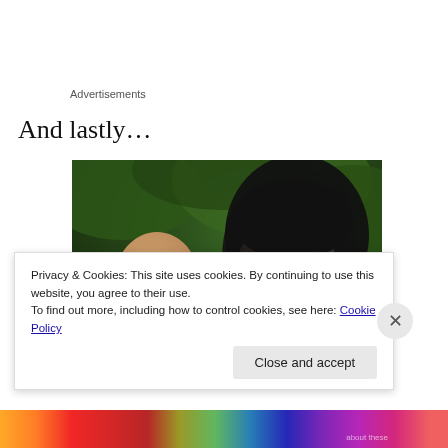Advertisements
And lastly…
[Figure (photo): Two people in an intimate scene — a bald man leaning in toward a woman with dark hair who is smiling, set against a green leafy background]
Privacy & Cookies: This site uses cookies. By continuing to use this website, you agree to their use.
To find out more, including how to control cookies, see here: Cookie Policy
Close and accept